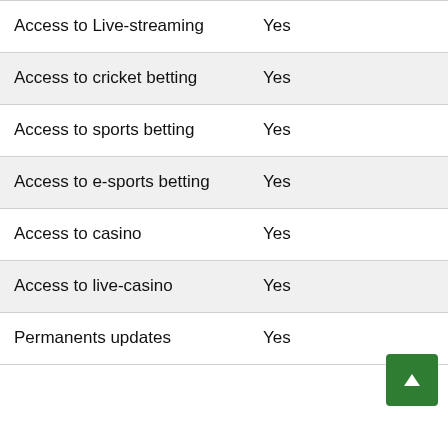| Feature | Available |
| --- | --- |
| Access to Live-streaming | Yes |
| Access to cricket betting | Yes |
| Access to sports betting | Yes |
| Access to e-sports betting | Yes |
| Access to casino | Yes |
| Access to live-casino | Yes |
| Permanents updates | Yes |